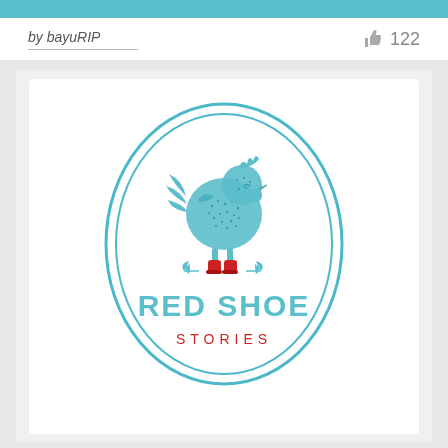by bayuRIP  122
[Figure (logo): Red Shoe Stories logo: a teal oval double-border badge containing a hand-drawn teal chicken/hen wearing red boots, with small teal leaf sprigs on either side. Below the chicken is the text 'RED SHOE' in large teal bold letters and 'STORIES' in smaller red spaced capitals.]